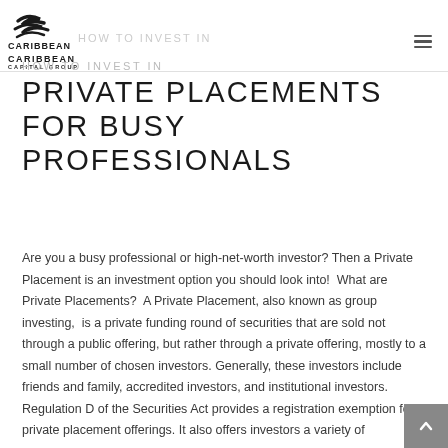Caribbean Capital Group — HOW TO INVEST IN
PRIVATE PLACEMENTS FOR BUSY PROFESSIONALS
Are you a busy professional or high-net-worth investor? Then a Private Placement is an investment option you should look into!  What are Private Placements?  A Private Placement, also known as group investing,  is a private funding round of securities that are sold not through a public offering, but rather through a private offering, mostly to a small number of chosen investors. Generally, these investors include friends and family, accredited investors, and institutional investors.  Regulation D of the Securities Act provides a registration exemption for private placement offerings. It also offers investors a variety of